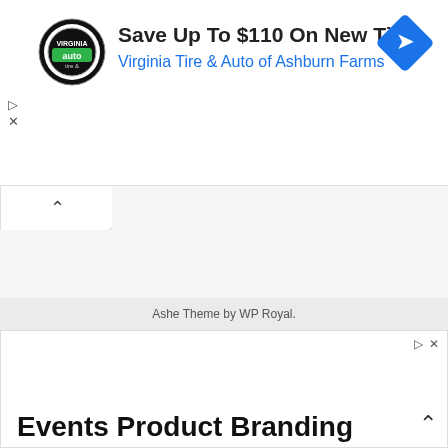[Figure (screenshot): Advertisement banner: Virginia Tire & Auto logo on left, headline 'Save Up To $110 On New Tires', subline 'Virginia Tire & Auto of Ashburn Farms' in blue, blue diamond navigation icon on right, ad controls (play and close icons) on left side]
[Figure (screenshot): Collapse/chevron up button UI element below the top ad]
Ashe Theme by WP Royal.
[Figure (screenshot): Second advertisement banner with ad controls top right, chevron up arrow bottom right, and large bold headline text 'Events Product Branding']